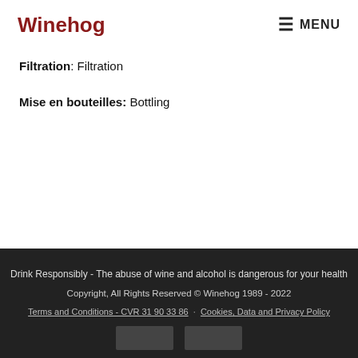Winehog   MENU
Filtration: Filtration
Mise en bouteilles: Bottling
Drink Responsibly - The abuse of wine and alcohol is dangerous for your health
Copyright, All Rights Reserved © Winehog 1989 - 2022
Terms and Conditions - CVR 31 90 33 86 · Cookies, Data and Privacy Policy